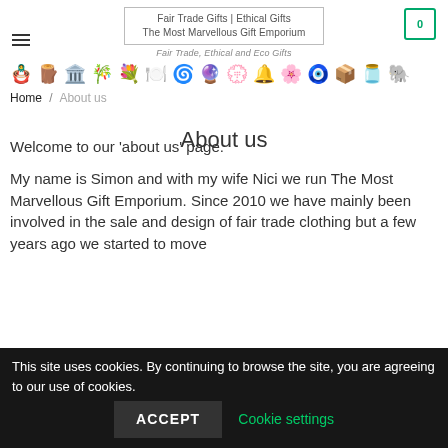Fair Trade Gifts | Ethical Gifts
The Most Marvellous Gift Emporium
Fair Trade, Ethical and Eco Gifts
[Figure (illustration): Row of small product icons: dark carving, wooden box, totem, incense sticks, brooch, plate, spiral, mandala, bracelet, singing bowl, floral ball, figurine, box, jar, animal carving]
Home / About us
About us
Welcome to our ‘about us’ page.
My name is Simon and with my wife Nici we run The Most Marvellous Gift Emporium.  Since 2010 we have mainly been involved in the sale and design of fair trade clothing but a few years ago we started to move
This site uses cookies. By continuing to browse the site, you are agreeing to our use of cookies.